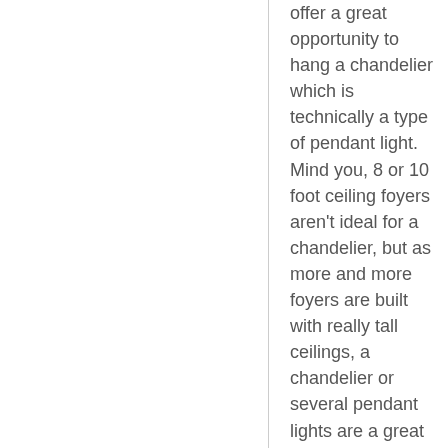offer a great opportunity to hang a chandelier which is technically a type of pendant light. Mind you, 8 or 10 foot ceiling foyers aren't ideal for a chandelier, but as more and more foyers are built with really tall ceilings, a chandelier or several pendant lights are a great option. From very affordable functional steel, copper and marble table lamps and wall